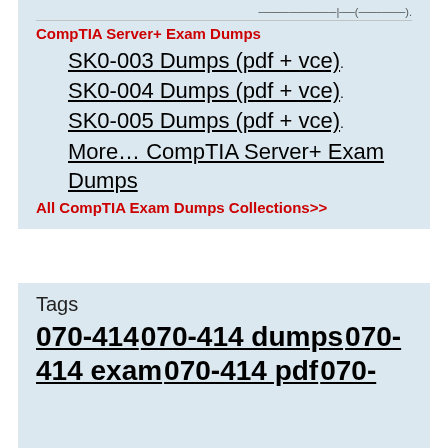CompTIA Server+ Exam Dumps
SK0-003 Dumps (pdf + vce)
SK0-004 Dumps (pdf + vce)
SK0-005 Dumps (pdf + vce)
More… CompTIA Server+ Exam Dumps
All CompTIA Exam Dumps Collections>>
Tags
070-414  070-414 dumps  070-414 exam  070-414 pdf  070-